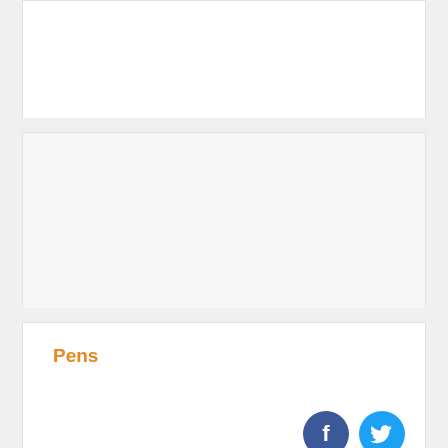Pens
[Figure (illustration): Facebook and Twitter social media icons (circular buttons) — Facebook in dark blue, Twitter in light blue]
SAKURAFOAM ERASER W
High quality and performance eraser